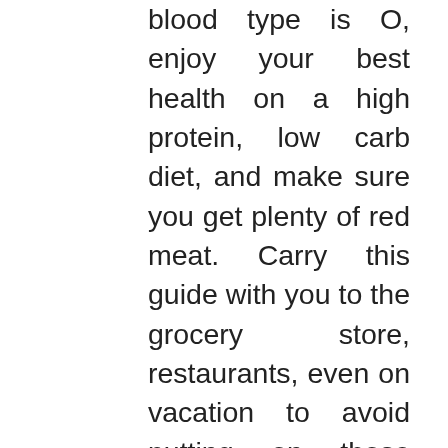blood type is O, enjoy your best health on a high protein, low carb diet, and make sure you get plenty of red meat. Carry this guide with you to the grocery store, restaurants, even on vacation to avoid putting on those extra pounds, or getting sick from eating the wrong thing. Inside you will find complete listings of what's right for Type O in the following categories: • meats, poultry, and seafood • oils and fats • dairy and eggs • nuts, seeds, beans, and legumes • breads, grains, and pastas • fruits, vegetables, and juices • spices and condiments • herbal teas and other beverages • special supplements • drug interactions • resources and support Refer to this diet book while shopping, dining, or